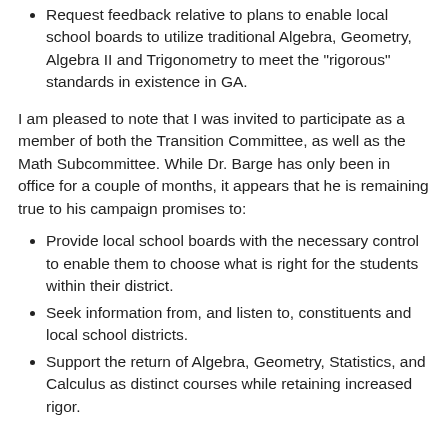Request feedback relative to plans to enable local school boards to utilize traditional Algebra, Geometry, Algebra II and Trigonometry to meet the "rigorous" standards in existence in GA.
I am pleased to note that I was invited to participate as a member of both the Transition Committee, as well as the Math Subcommittee. While Dr. Barge has only been in office for a couple of months, it appears that he is remaining true to his campaign promises to:
Provide local school boards with the necessary control to enable them to choose what is right for the students within their district.
Seek information from, and listen to, constituents and local school districts.
Support the return of Algebra, Geometry, Statistics, and Calculus as distinct courses while retaining increased rigor.